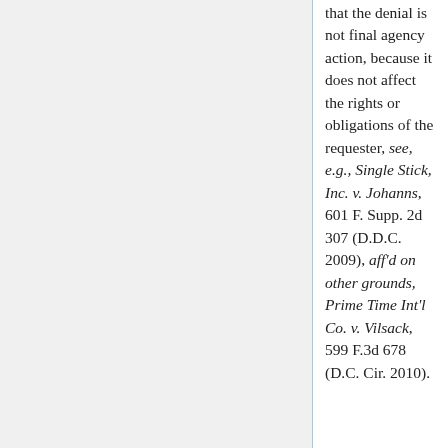that the denial is not final agency action, because it does not affect the rights or obligations of the requester, see, e.g., Single Stick, Inc. v. Johanns, 601 F. Supp. 2d 307 (D.D.C. 2009), aff'd on other grounds, Prime Time Int'l Co. v. Vilsack, 599 F.3d 678 (D.C. Cir. 2010).